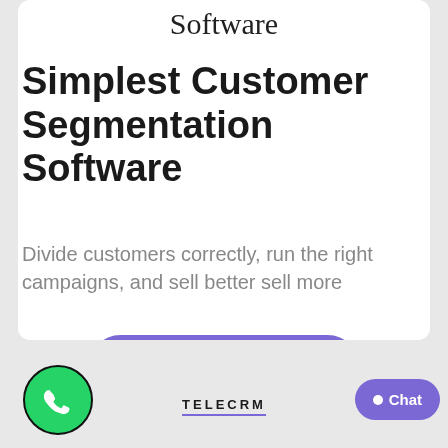Software
Simplest Customer Segmentation Software
Divide customers correctly, run the right campaigns, and sell better sell more
Learn More
[Figure (logo): WhatsApp logo icon — green circle with white phone handset inside a chat bubble]
TELECRM
Chat